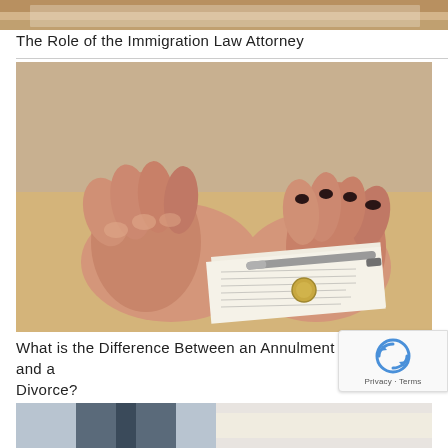[Figure (photo): Partial view of a document or papers on a wooden surface, cropped at top]
The Role of the Immigration Law Attorney
[Figure (photo): Two people sitting across from each other at a table with a legal document, a pen, and a wedding ring between them — one person with clasped hands (male) on the left, one with dark nail polish (female) on the right]
What is the Difference Between an Annulment and a Divorce?
[Figure (photo): Bottom portion showing what appears to be a person in a suit and tie, cropped]
[Figure (other): reCAPTCHA badge with Privacy and Terms links]